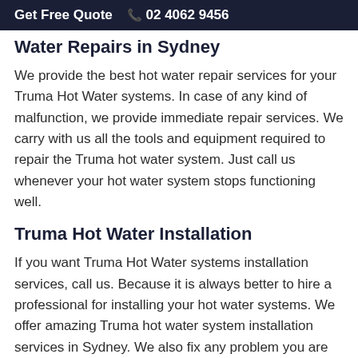Get Free Quote  📞 02 4062 9456
Water Repairs in Sydney
We provide the best hot water repair services for your Truma Hot Water systems. In case of any kind of malfunction, we provide immediate repair services. We carry with us all the tools and equipment required to repair the Truma hot water system. Just call us whenever your hot water system stops functioning well.
Truma Hot Water Installation
If you want Truma Hot Water systems installation services, call us. Because it is always better to hire a professional for installing your hot water systems. We offer amazing Truma hot water system installation services in Sydney. We also fix any problem you are facing on the spot.